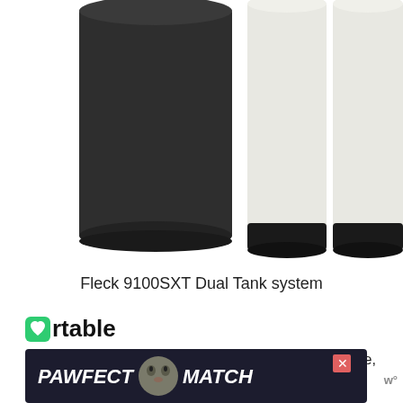[Figure (photo): Product photo of the Fleck 9100SXT Dual Tank water softener system, showing three cylinders: one large black cylinder on the left and two white/off-white cylinders on the right, each with black bases.]
Fleck 9100SXT Dual Tank system
Portable
table water softeners aren't actually portable, but they're so-called because they're much smaller th
[Figure (other): Advertisement banner: PAWFECT MATCH with a cat image, dark background. Close button (X) in upper right. Wag logo on the right.]